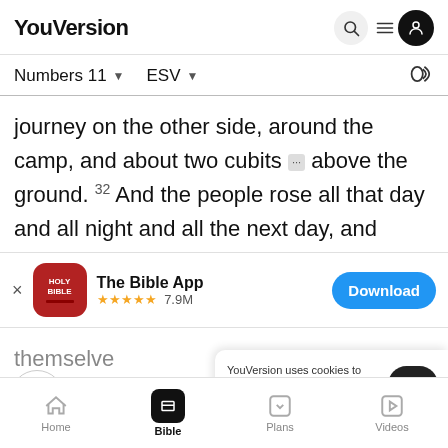YouVersion
Numbers 11  ESV
journey on the other side, around the camp, and about two cubits [fn] above the ground. 32 And the people rose all that day and all night and all the next day, and
[Figure (screenshot): The Bible App download banner with HOLY BIBLE icon, star rating 7.9M, and Download button]
themselve...
YouVersion uses cookies to personalize your experience. By using our website, you accept our use of cookies as described in our Privacy Policy.
anger of t...
Home  Bible  Plans  Videos